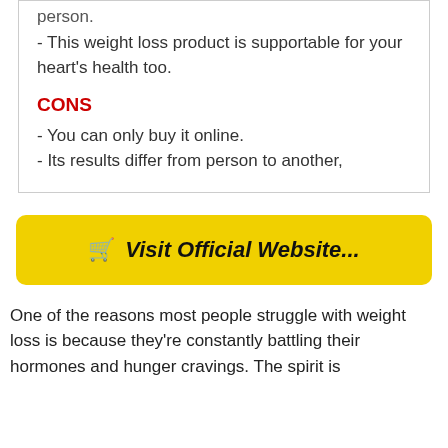- This weight loss product is supportable for your heart's health too.
CONS
- You can only buy it online.
- Its results differ from person to another,
[Figure (other): Yellow button with shopping cart icon and text 'Visit Official Website...']
One of the reasons most people struggle with weight loss is because they're constantly battling their hormones and hunger cravings. The spirit is